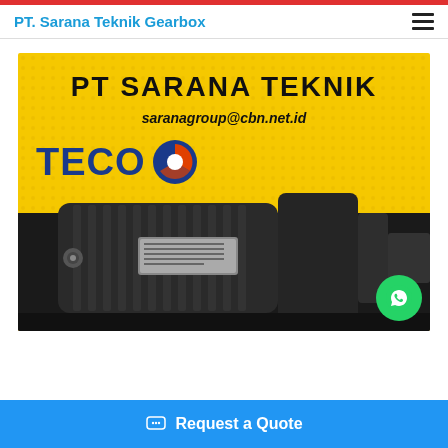PT. Sarana Teknik Gearbox
[Figure (photo): Promotional banner on yellow background showing PT SARANA TEKNIK brand with email saranagroup@cbn.net.id and TECO logo above a dark industrial electric motor/gearbox unit]
Request a Quote